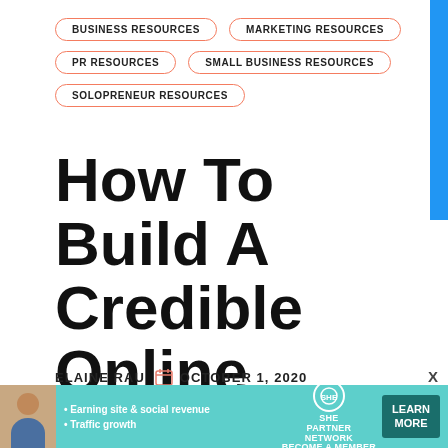BUSINESS RESOURCES
MARKETING RESOURCES
PR RESOURCES
SMALL BUSINESS RESOURCES
SOLOPRENEUR RESOURCES
How To Build A Credible Online Brand Through Content Marketing
ELAINE RAU    OCTOBER 1, 2020
[Figure (screenshot): Advertisement banner for SHE PARTNER NETWORK with text: Earning site & social revenue, Traffic growth. LEARN MORE button.]